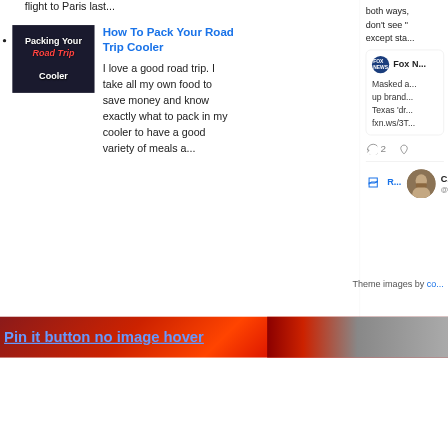flight to Paris last...
How To Pack Your Road Trip Cooler — I love a good road trip. I take all my own food to save money and know exactly what to pack in my cooler to have a good variety of meals a...
both ways, don't see " except sta...
[Figure (screenshot): Fox News tweet card showing text: Masked a... up brand... Texas 'dr... fxn.ws/3T...]
2 (reply and like icons)
[Figure (screenshot): Retweet indicator with avatar of bearded man and initial C with handle @...]
Theme images by co...
Pin it button no image hover